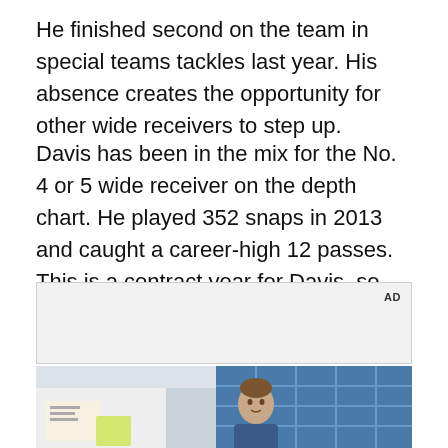He finished second on the team in special teams tackles last year. His absence creates the opportunity for other wide receivers to step up.
Davis has been in the mix for the No. 4 or 5 wide receiver on the depth chart. He played 352 snaps in 2013 and caught a career-high 12 passes. This is a contract year for Davis, so the injury is even more concerning for his long-term chances.
[Figure (other): Advertisement placeholder box with 'AD' label in upper right corner]
[Figure (photo): Photo of a young man in a denim jacket standing in front of a wall with blue tiled windows, resembling a school or office setting]